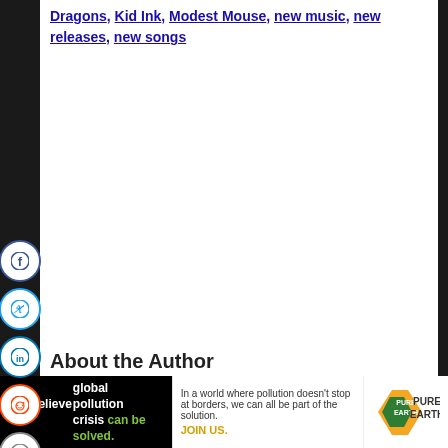Dragons, Kid Ink, Modest Mouse, new music, new releases, new songs
[Figure (infographic): Social sharing sidebar with circular icon buttons for Facebook, Twitter, LinkedIn, Reddit, and Email]
About the Author
Garry Galinault  Garry Galinault debuted...
[Figure (infographic): reCAPTCHA badge in bottom right corner]
We believe the global pollution crisis can be solved. In a world where pollution doesn't stop at borders, we can all be part of the solution. JOIN US. PURE EARTH